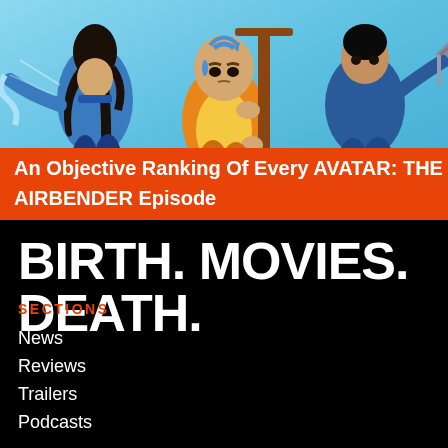[Figure (illustration): Animated illustration from Avatar: The Last Airbender showing Aang (bald child in orange and yellow robes with blue arrow tattoo on forehead) in the center holding a staff/glider, flanked by Katara (girl with blue Water Tribe outfit and hair loopies) on the left and Zuko or another character in blue on the right. Cyan/sky blue background.]
An Objective Ranking Of Every AVATAR: THE LAST AIRBENDER Episode
BIRTH. MOVIES. DEATH.
SECTIONS
News
Reviews
Trailers
Podcasts